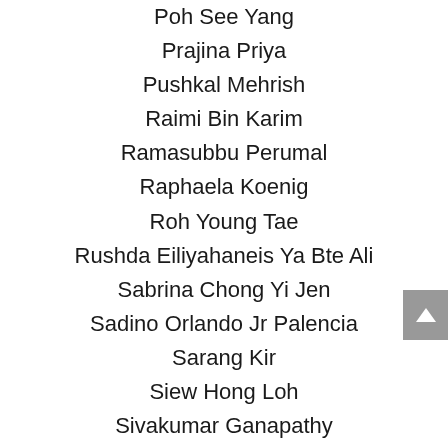Poh See Yang
Prajina Priya
Pushkal Mehrish
Raimi Bin Karim
Ramasubbu Perumal
Raphaela Koenig
Roh Young Tae
Rushda Eiliyahaneis Ya Bte Ali
Sabrina Chong Yi Jen
Sadino Orlando Jr Palencia
Sarang Kir
Siew Hong Loh
Sivakumar Ganapathy
Sng Bei Jie Thane
Soh Bee Peng
Sophie Victoria Sparks